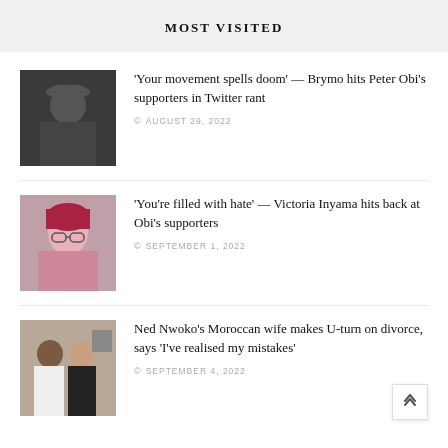MOST VISITED
[Figure (photo): Black and white photo of a man wearing a hat, holding a microphone]
'Your movement spells doom' — Brymo hits Peter Obi's supporters in Twitter rant
AUGUST 29, 2022
[Figure (photo): Photo of a woman with red hair wearing glasses]
'You're filled with hate' — Victoria Inyama hits back at Obi's supporters
SEPTEMBER 1, 2022
[Figure (photo): Photo of a man and a woman indoors]
Ned Nwoko's Moroccan wife makes U-turn on divorce, says 'I've realised my mistakes'
SEPTEMBER 4, 2022